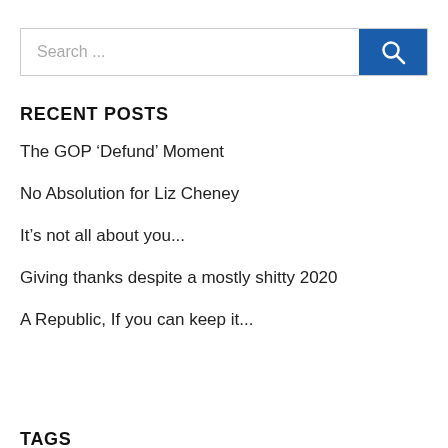Search ...
RECENT POSTS
The GOP ‘Defund’ Moment
No Absolution for Liz Cheney
It’s not all about you...
Giving thanks despite a mostly shitty 2020
A Republic, If you can keep it...
TAGS